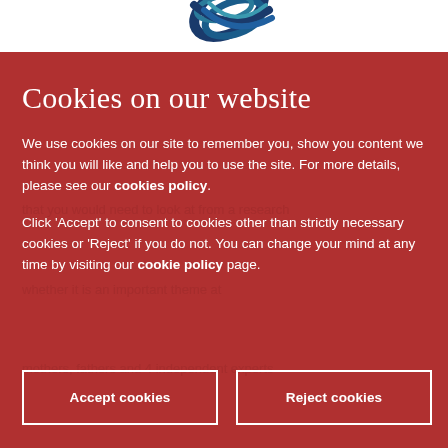[Figure (logo): Decorative blue and teal swirl logo at top of page]
Cookies on our website
We use cookies on our site to remember you, show you content we think you will like and help you to use the site. For more details, please see our cookies policy.
Click 'Accept' to consent to cookies other than strictly necessary cookies or 'Reject' if you do not. You can change your mind at any time by visiting our cookie policy page.